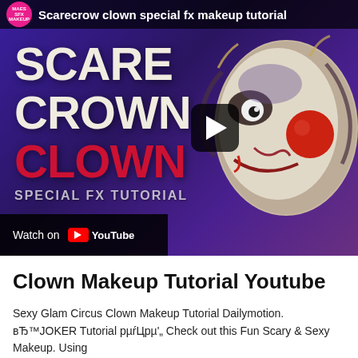[Figure (screenshot): YouTube video thumbnail for 'Scarecrow clown special fx makeup tutorial' by maes SFX MAKEUP. Shows a horror clown face on the right side with large red nose and disturbing makeup. Large white text reads 'SCARE CROWN' and red text reads 'CLOWN' with 'SPECIAL FX TUTORIAL' below. A YouTube play button overlay is visible. 'Watch on YouTube' bar at the bottom left.]
Clown Makeup Tutorial Youtube
Sexy Glam Circus Clown Makeup Tutorial Dailymotion. вЂ™JOKER Tutorial рµŕЦрµ'„ Check out this Fun Scary & Sexy Makeup. Using